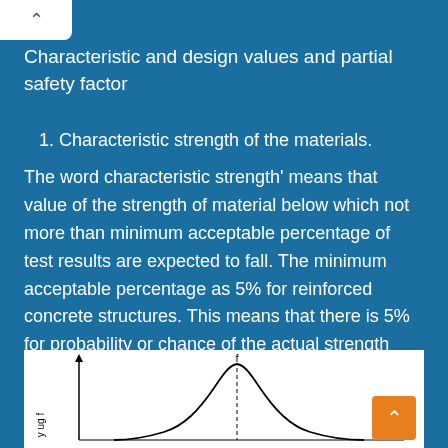Characteristic and design values and partial safety factor
1. Characteristic strength of the materials.
The word characteristic strength' means that value of the strength of material below which not more than minimum acceptable percentage of test results are expected to fall. The minimum acceptable percentage as 5% for reinforced concrete structures. This means that there is 5% for probability or chance of the actual strength being less than the characteristic strength value.
[Figure (continuous-plot): Partial normal distribution curve diagram showing frequency vs strength, with vertical axis labeled and a bell curve peak visible at top]